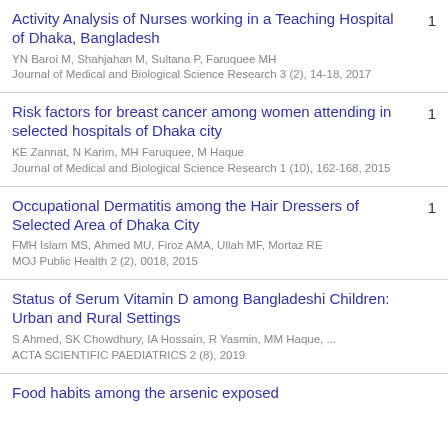Activity Analysis of Nurses working in a Teaching Hospital of Dhaka, Bangladesh
YN Baroi M, Shahjahan M, Sultana P, Faruquee MH
Journal of Medical and Biological Science Research 3 (2), 14-18, 2017
Citations: 1
Risk factors for breast cancer among women attending in selected hospitals of Dhaka city
KE Zannat, N Karim, MH Faruquee, M Haque
Journal of Medical and Biological Science Research 1 (10), 162-168, 2015
Citations: 1
Occupational Dermatitis among the Hair Dressers of Selected Area of Dhaka City
FMH Islam MS, Ahmed MU, Firoz AMA, Ullah MF, Mortaz RE
MOJ Public Health 2 (2), 0018, 2015
Citations: 1
Status of Serum Vitamin D among Bangladeshi Children: Urban and Rural Settings
S Ahmed, SK Chowdhury, IA Hossain, R Yasmin, MM Haque, ...
ACTA SCIENTIFIC PAEDIATRICS 2 (8), 2019
Food habits among the arsenic exposed